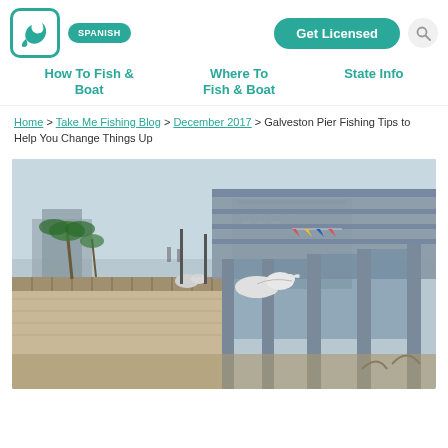SPANISH | Get Licensed | [search]
How To Fish & Boat
Where To Fish & Boat
State Info
Home > Take Me Fishing Blog > December 2017 > Galveston Pier Fishing Tips to Help You Change Things Up
[Figure (photo): Photo of a fishing pier boardwalk in Galveston with seagulls perched on the railing, palm trees and a port building visible in the background, overcast sky.]